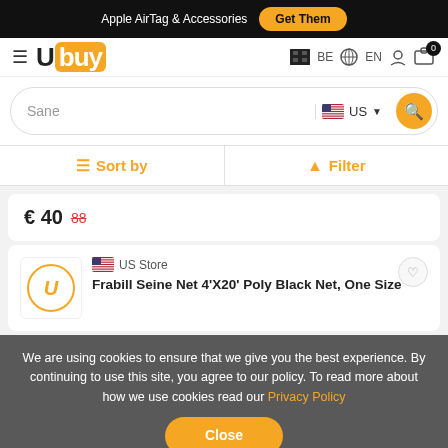Apple AirTag & Accessories  Get Them
[Figure (logo): Ubuy logo with hamburger menu and navigation icons (BE, EN, user, cart with 0)]
Sane  US  (search bar)
Sort by  |  Filter
€ 40  88
US Store  Frabill Seine Net 4'X20' Poly Black Net, One Size
We are using cookies to ensure that we give you the best experience. By continuing to use this site, you agree to our policy. To read more about how we use cookies read our Privacy Policy  Close